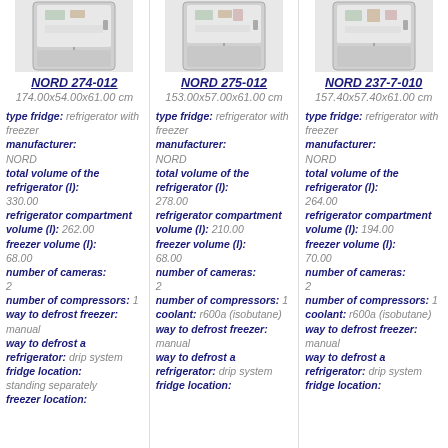[Figure (photo): Refrigerator product image for NORD 274-012]
NORD 274-012
174.00x54.00x61.00 cm
type fridge: refrigerator with freezer manufacturer: NORD total volume of the refrigerator (l): 330.00 refrigerator compartment volume (l): 262.00 freezer volume (l): 68.00 number of cameras: 2 number of compressors: 1 way to defrost freezer: manual way to defrost a refrigerator: drip system fridge location: standing separately freezer location:
[Figure (photo): Refrigerator product image for NORD 275-012]
NORD 275-012
153.00x57.00x61.00 cm
type fridge: refrigerator with freezer manufacturer: NORD total volume of the refrigerator (l): 278.00 refrigerator compartment volume (l): 210.00 freezer volume (l): 68.00 number of cameras: 2 number of compressors: 1 coolant: r600a (isobutane) way to defrost freezer: manual way to defrost a refrigerator: drip system fridge location:
[Figure (photo): Refrigerator product image for NORD 237-7-010]
NORD 237-7-010
157.40x57.40x61.00 cm
type fridge: refrigerator with freezer manufacturer: NORD total volume of the refrigerator (l): 264.00 refrigerator compartment volume (l): 194.00 freezer volume (l): 70.00 number of cameras: 2 number of compressors: 1 coolant: r600a (isobutane) way to defrost freezer: manual way to defrost a refrigerator: drip system fridge location: